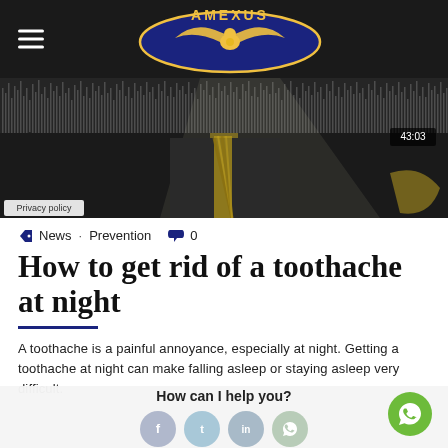AMEXUS
[Figure (screenshot): Video player screenshot showing a man in a suit with a yellow striped tie, dark background with waveform visualization, timestamp 43:03 shown in bottom right, Privacy policy label in bottom left]
News · Prevention  0
How to get rid of a toothache at night
A toothache is a painful annoyance, especially at night. Getting a toothache at night can make falling asleep or staying asleep very difficult.
How can I help you?